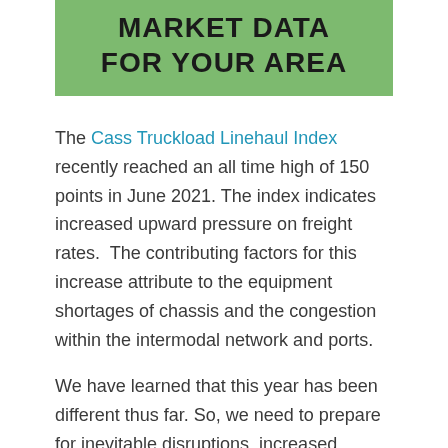MARKET DATA FOR YOUR AREA
The Cass Truckload Linehaul Index recently reached an all time high of 150 points in June 2021. The index indicates increased upward pressure on freight rates.  The contributing factors for this increase attribute to the equipment shortages of chassis and the congestion within the intermodal network and ports.
We have learned that this year has been different thus far. So, we need to prepare for inevitable disruptions, increased supply chain costs, and potential out of stocks on staple items. The